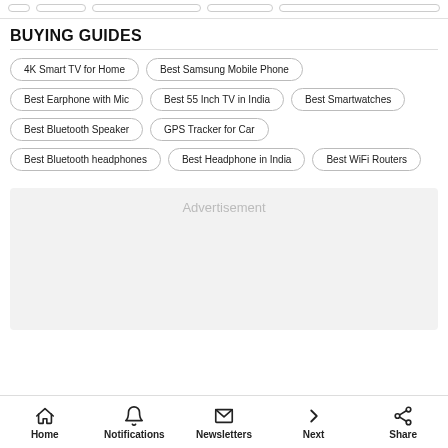BUYING GUIDES
4K Smart TV for Home
Best Samsung Mobile Phone
Best Earphone with Mic
Best 55 Inch TV in India
Best Smartwatches
Best Bluetooth Speaker
GPS Tracker for Car
Best Bluetooth headphones
Best Headphone in India
Best WiFi Routers
[Figure (other): Advertisement placeholder block]
Home | Notifications | Newsletters | Next | Share